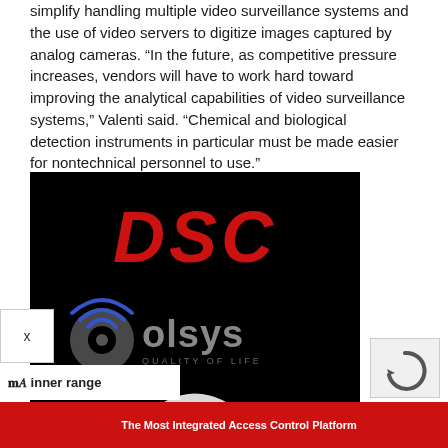simplify handling multiple video surveillance systems and the use of video servers to digitize images captured by analog cameras. “In the future, as competitive pressure increases, vendors will have to work hard toward improving the analytical capabilities of video surveillance systems,” Valenti said. “Chemical and biological detection instruments in particular must be made easier for nontechnical personnel to use.”
[Figure (logo): Advertisement image on black background showing DSC logo in large red italic text and Qolsys (Quality of Life) logo in grey and blue below it, with a partial arch silhouette at bottom. Banner at bottom reads 'The Most Integrated Access Control Platform' with Inner Range logo and icons.]